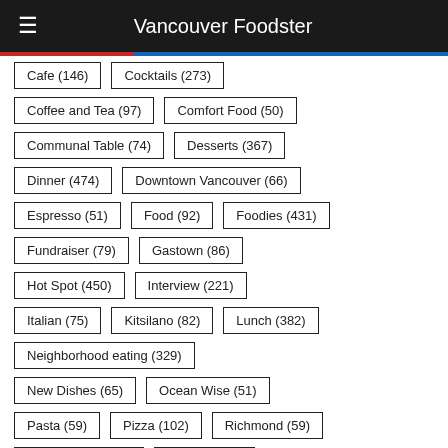Vancouver Foodster
Cafe (146)
Cocktails (273)
Coffee and Tea (97)
Comfort Food (50)
Communal Table (74)
Desserts (367)
Dinner (474)
Downtown Vancouver (66)
Espresso (51)
Food (92)
Foodies (431)
Fundraiser (79)
Gastown (86)
Hot Spot (450)
Interview (221)
Italian (75)
Kitsilano (82)
Lunch (382)
Neighborhood eating (329)
New Dishes (65)
Ocean Wise (51)
Pasta (59)
Pizza (102)
Richmond (59)
Sandwiches (103)
Seafood (75)